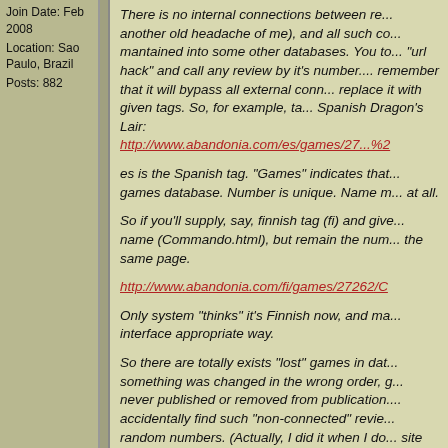Join Date: Feb 2008
Location: Sao Paulo, Brazil
Posts: 882
There is no internal connections between re... another old headache of me), and all such c... mantained into some other databases. You t... "url hack" and call any review by it's number... remember that it will bypass all external conn... replace it with given tags. So, for example, ta... Spanish Dragon's Lair:
http://www.abandonia.com/es/games/27...%2
es is the Spanish tag. "Games" indicates tha... games database. Number is unique. Name m... at all.
So if you'll supply, say, finnish tag (fi) and giv... name (Commando.html), but remain the num... the same page.
http://www.abandonia.com/fi/games/27262/C
Only system "thinks" it's Finnish now, and ma... interface appropriate way.
So there are totally exists "lost" games in dat... something was changed in the wrong order, g... never published or removed from publication.... accidentally find such "non-connected" revie... random numbers. (Actually, I did it when I do... site content - unfortunately, I never sorted it c...